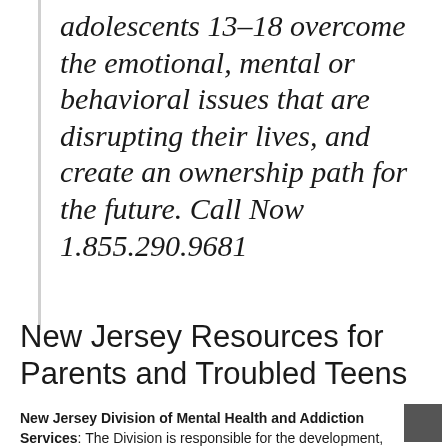adolescents 13-18 overcome the emotional, mental or behavioral issues that are disrupting their lives, and create an ownership path for the future. Call Now 1.855.290.9681
New Jersey Resources for Parents and Troubled Teens
New Jersey Division of Mental Health and Addiction Services: The Division is responsible for the development, coordination and operational support of a comprehensive mental health and addiction...